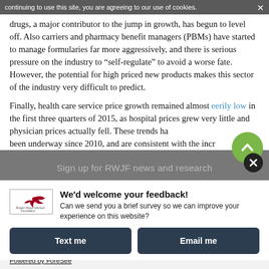continuing to use this site, you are agreeing to our use of cookies.
drugs, a major contributor to the jump in growth, has begun to level off. Also carriers and pharmacy benefit managers (PBMs) have started to manage formularies far more aggressively, and there is serious pressure on the industry to “self-regulate” to avoid a worse fate. However, the potential for high priced new products makes this sector of the industry very difficult to predict.
Finally, health care service price growth remained almost eerily low in the first three quarters of 2015, as hospital prices grew very little and physician prices actually fell. These trends have been underway since 2010, and are consistent with the incr...
Sign up for RWJF news and research
We'd welcome your feedback!
Can we send you a brief survey so we can improve your experience on this website?
Text me
Email me
Powered by ForeSee